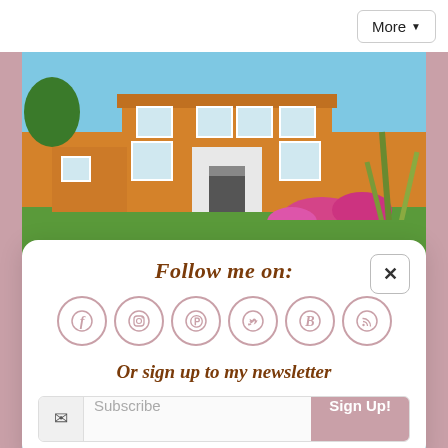[Figure (screenshot): More dropdown button in top right corner of web page]
[Figure (photo): Orange/terracotta Georgian-style manor house with white windows, green lawn, pink flowers, and tall green plants in foreground against blue sky]
Follow me on:
[Figure (infographic): Six social media icons in circles: Facebook (f), Instagram, Pinterest, Twitter (bird), Bloglovin (B), RSS feed]
Or sign up to my newsletter
Subscribe
Sign Up!
[Figure (photo): Bottom strip showing windmill and blue sky]